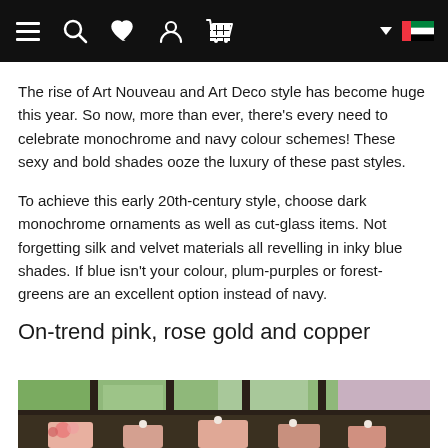[Navigation bar with menu, search, wishlist, profile, cart icons and UAE flag]
The rise of Art Nouveau and Art Deco style has become huge this year. So now, more than ever, there's every need to celebrate monochrome and navy colour schemes! These sexy and bold shades ooze the luxury of these past styles.
To achieve this early 20th-century style, choose dark monochrome ornaments as well as cut-glass items. Not forgetting silk and velvet materials all revelling in inky blue shades. If blue isn't your colour, plum-purples or forest-greens are an excellent option instead of navy.
On-trend pink, rose gold and copper
[Figure (photo): Indoor photo showing large window panes with green foliage visible outside, dark window frames, and wedding/event table decoration with pink floral arrangements and ornate chair backs in the foreground.]